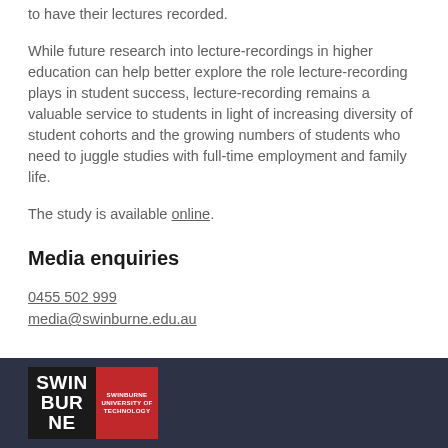to have their lectures recorded.
While future research into lecture-recordings in higher education can help better explore the role lecture-recording plays in student success, lecture-recording remains a valuable service to students in light of increasing diversity of student cohorts and the growing numbers of students who need to juggle studies with full-time employment and family life.
The study is available online.
Media enquiries
0455 502 999
media@swinburne.edu.au
[Figure (logo): Swinburne University of Technology logo with black left panel showing SWINBURNE text and red right panel showing full university name]